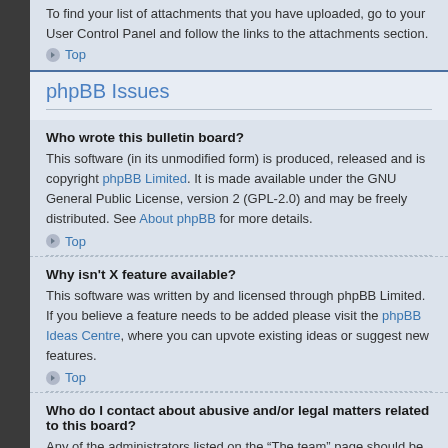To find your list of attachments that you have uploaded, go to your User Control Panel and follow the links to the attachments section.
Top
phpBB Issues
Who wrote this bulletin board?
This software (in its unmodified form) is produced, released and is copyright phpBB Limited. It is made available under the GNU General Public License, version 2 (GPL-2.0) and may be freely distributed. See About phpBB for more details.
Top
Why isn't X feature available?
This software was written by and licensed through phpBB Limited. If you believe a feature needs to be added please visit the phpBB Ideas Centre, where you can upvote existing ideas or suggest new features.
Top
Who do I contact about abusive and/or legal matters related to this board?
Any of the administrators listed on the “The team” page should be an appropriate point of contact for your complaints. If this still gets no response then you should contact the owner of the domain (do a whois lookup) or, if this is running on a free service (e.g. Yahoo!, free.fr, f2s.com,